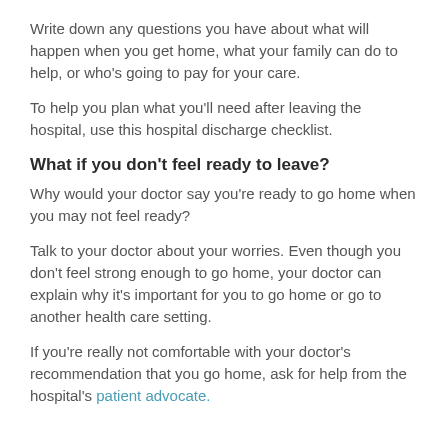Write down any questions you have about what will happen when you get home, what your family can do to help, or who's going to pay for your care.
To help you plan what you'll need after leaving the hospital, use this hospital discharge checklist.
What if you don't feel ready to leave?
Why would your doctor say you're ready to go home when you may not feel ready?
Talk to your doctor about your worries. Even though you don't feel strong enough to go home, your doctor can explain why it's important for you to go home or go to another health care setting.
If you're really not comfortable with your doctor's recommendation that you go home, ask for help from the hospital's patient advocate.